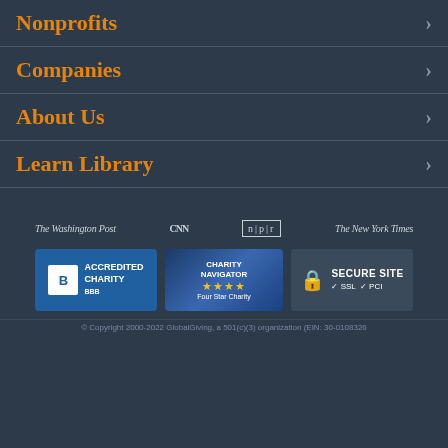Nonprofits
Companies
About Us
Learn Library
[Figure (logo): Media logos: The Washington Post, CNN, NPR, The New York Times]
[Figure (logo): Trust badges: BBB Accredited Charity, Charity Navigator Four Star Charity, Secure Site SSL PCI]
© Copyright 2000-2022 GlobalGiving, a 501(c)(3) organization (EIN: 30-0108326